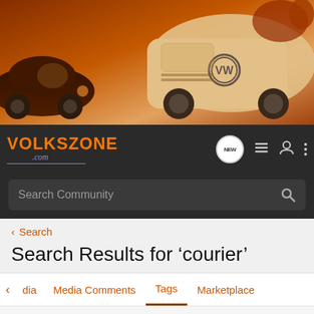[Figure (illustration): Banner image showing illustrated vintage Volkswagen cars (Beetle and VW Bus/Transporter) in orange/sepia tones]
[Figure (logo): VOLKSZONE.com logo in orange and purple/blue on dark navbar background]
Search Community
< Search
Search Results for ‘courier’
< dia  Media Comments  Tags  Marketplace
Search Tags
courier